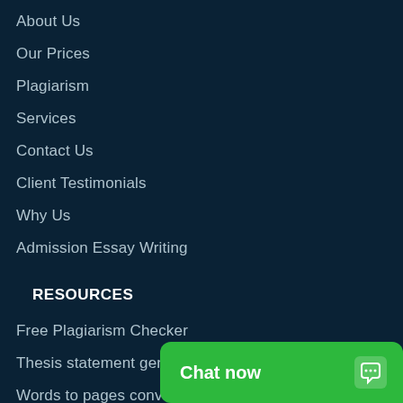About Us
Our Prices
Plagiarism
Services
Contact Us
Client Testimonials
Why Us
Admission Essay Writing
RESOURCES
Free Plagiarism Checker
Thesis statement generator
Words to pages converter
Words to Minutes Conve
GPA calculator